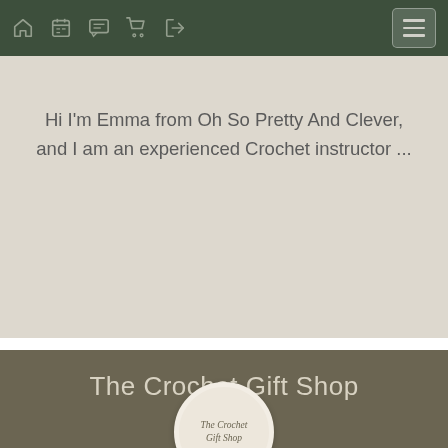[Figure (screenshot): Website navigation bar with dark green background containing icons: home, calendar, chat/comments, shopping cart, sign-in, and a hamburger menu button on the right]
Hi I'm Emma from Oh So Pretty And Clever, and I am an experienced Crochet instructor ...
The Crochet Gift Shop
[Figure (logo): Circular badge/logo with cream/beige background showing cursive text 'The Crochet Gift Shop']